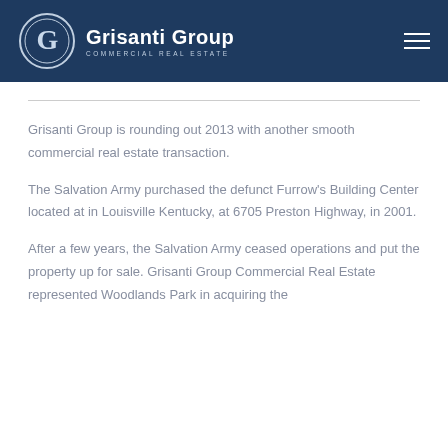[Figure (logo): Grisanti Group Commercial Real Estate logo — circular G emblem and text on dark navy header bar]
Grisanti Group is rounding out 2013 with another smooth commercial real estate transaction.
The Salvation Army purchased the defunct Furrow's Building Center located at in Louisville Kentucky, at 6705 Preston Highway, in 2001.
After a few years, the Salvation Army ceased operations and put the property up for sale. Grisanti Group Commercial Real Estate represented Woodlands Park in acquiring the